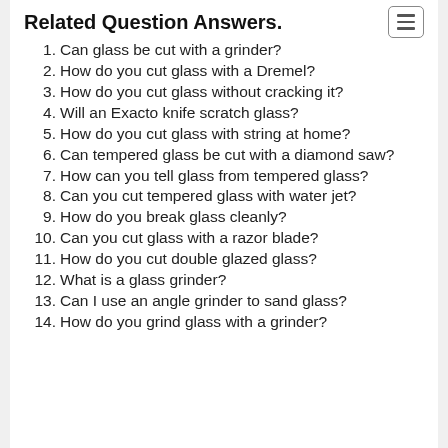Related Question Answers.
1. Can glass be cut with a grinder?
2. How do you cut glass with a Dremel?
3. How do you cut glass without cracking it?
4. Will an Exacto knife scratch glass?
5. How do you cut glass with string at home?
6. Can tempered glass be cut with a diamond saw?
7. How can you tell glass from tempered glass?
8. Can you cut tempered glass with water jet?
9. How do you break glass cleanly?
10. Can you cut glass with a razor blade?
11. How do you cut double glazed glass?
12. What is a glass grinder?
13. Can I use an angle grinder to sand glass?
14. How do you grind glass with a grinder?